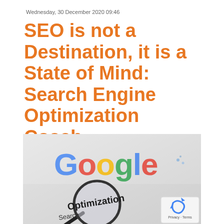Wednesday, 30 December 2020 09:46
SEO is not a Destination, it is a State of Mind: Search Engine Optimization Coach
[Figure (photo): Photo showing a magnifying glass over the word 'Optimization' with the Google logo visible above on a light grey background. A reCAPTCHA badge appears in the bottom right corner with 'Privacy - Terms' text.]